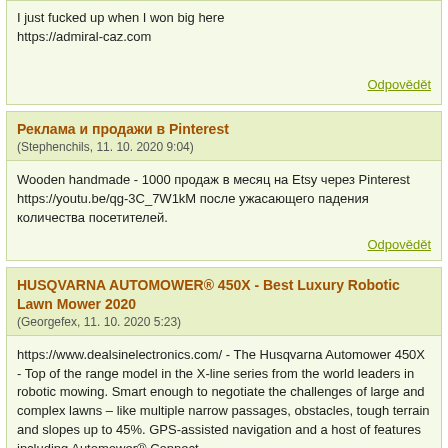I just fucked up when I won big here
https://admiral-caz.com
Odpovědět
Реклама и продажи в Pinterest
(Stephenchils, 11. 10. 2020 9:04)
Wooden handmade - 1000 продаж в месяц на Etsy через Pinterest https://youtu.be/qg-3C_7W1kM после ужасающего падения количества посетителей.
Odpovědět
HUSQVARNA AUTOMOWER® 450X - Best Luxury Robotic Lawn Mower 2020
(Georgefex, 11. 10. 2020 5:23)
https://www.dealsinelectronics.com/ - The Husqvarna Automower 450X - Top of the range model in the X-line series from the world leaders in robotic mowing. Smart enough to negotiate the challenges of large and complex lawns – like multiple narrow passages, obstacles, tough terrain and slopes up to 45%. GPS-assisted navigation and a host of features including Automower® Connect